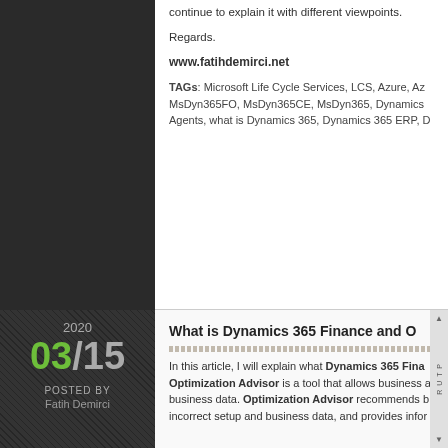continue to explain it with different viewpoints.
Regards.
www.fatihdemirci.net
TAGs: Microsoft Life Cycle Services, LCS, Azure, Az... MsDyn365FO, MsDyn365CE, MsDyn365, Dynamics... Agents, what is Dynamics 365, Dynamics 365 ERP, D...
2020
03/15
POSTED BY
Fatih Demirci
What is Dynamics 365 Finance and O
In this article, I will explain what Dynamics 365 Fina... Optimization Advisor is a tool that allows business... business data. Optimization Advisor recommends b... incorrect setup and business data, and provides infor...